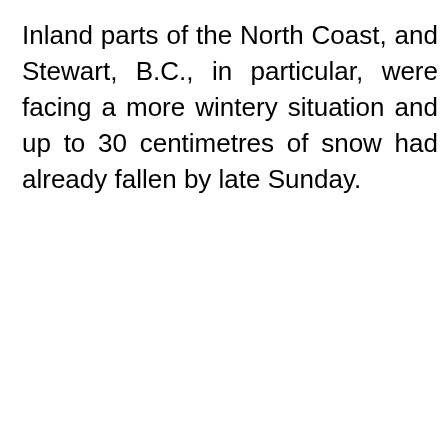Inland parts of the North Coast, and Stewart, B.C., in particular, were facing a more wintery situation and up to 30 centimetres of snow had already fallen by late Sunday.